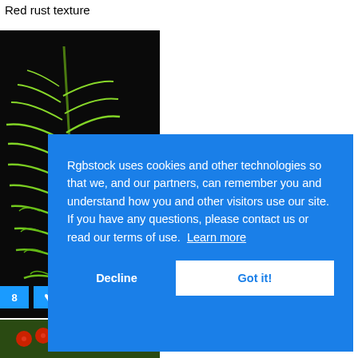Red rust texture
[Figure (photo): Close-up photo of green fern leaves against a dark/black background]
[Figure (photo): Partial photo of red berries with green leaves at the bottom]
Rgbstock uses cookies and other technologies so that we, and our partners, can remember you and understand how you and other visitors use our site. If you have any questions, please contact us or read our terms of use.  Learn more
Decline
Got it!